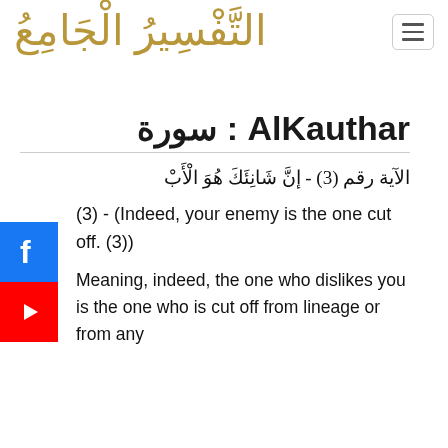[Figure (logo): Arabic calligraphic logo in gold color reading Al-Tafseer Al-Jami]
[Figure (illustration): Hamburger menu button (three horizontal lines) in a rounded rectangle border]
[Figure (illustration): Facebook social media icon - white f on blue background]
[Figure (illustration): YouTube social media icon - white play triangle on red background]
AlKauthar : سورة
الآية رقم (3) - إنَّ شَانِئَكَ هُوَ الْأَبْ
(3) - (Indeed, your enemy is the one cut off. (3))
Meaning, indeed, the one who dislikes you is the one who is cut off from lineage or from any